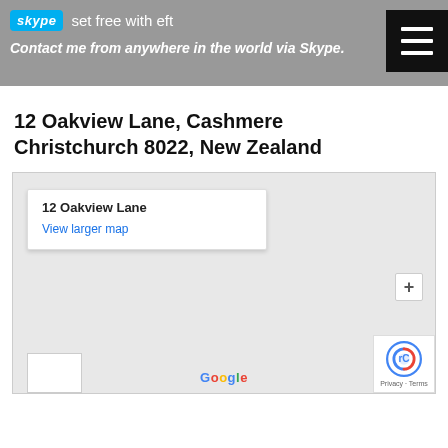skype set free with eft
Contact me from anywhere in the world via Skype.
12 Oakview Lane, Cashmere
Christchurch 8022, New Zealand
[Figure (map): Google Maps embed showing 12 Oakview Lane, Cashmere, Christchurch 8022, New Zealand. An info box in the top-left shows the address '12 Oakview Lane' with a 'View larger map' link. Google branding at the bottom center. A reCAPTCHA badge and Privacy/Terms links at the bottom-right.]